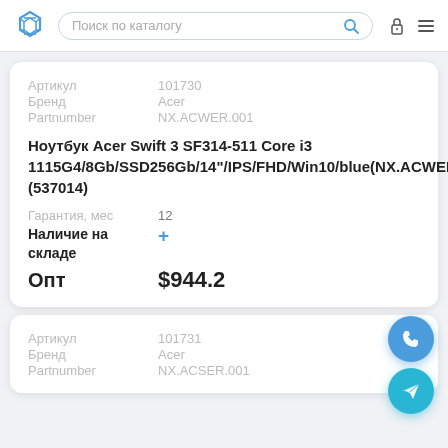Поиск по каталогу
| Артикул | 101730 |
| --- | --- |
| Бренд | Acer |
| Partnumber | NX.ACWER.001 |
Ноутбук Acer Swift 3 SF314-511 Core i3 1115G4/8Gb/SSD256Gb/14"/IPS/FHD/Win10/blue(NX.ACWER.001) (537014)
| Гарантия, мес | 12 |
| --- | --- |
| Наличие на складе | + |
| Опт | $944.2 |
| Артикул | 101731 |
| --- | --- |
| Бренд | Acer |
| Partnumber | NX.ACSER.001 |